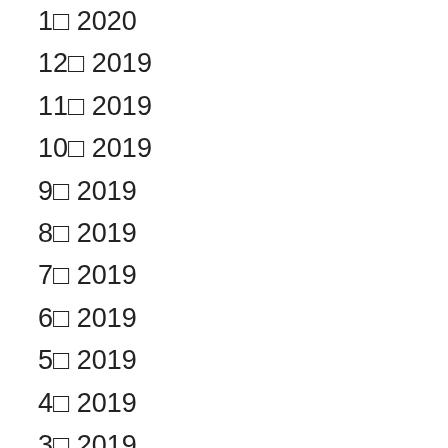1월 2020
12월 2019
11월 2019
10월 2019
9월 2019
8월 2019
7월 2019
6월 2019
5월 2019
4월 2019
3월 2019
2월 2019
1월 2019
12월 2018